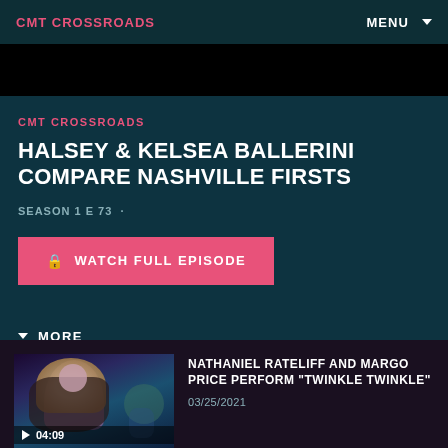CMT CROSSROADS
MENU
CMT CROSSROADS
HALSEY & KELSEA BALLERINI COMPARE NASHVILLE FIRSTS
SEASON 1 E 73 ·
WATCH FULL EPISODE
MORE
[Figure (photo): Thumbnail of a performer playing guitar on stage with stage lighting]
04:09
NATHANIEL RATELIFF AND MARGO PRICE PERFORM "TWINKLE TWINKLE"
03/25/2021